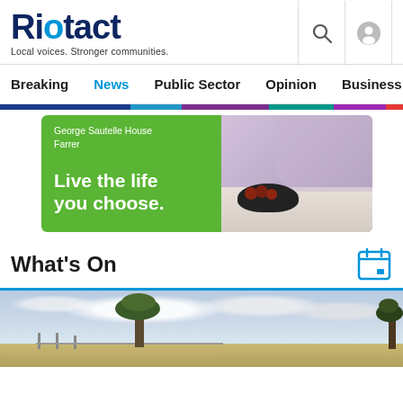Riotact — Local voices. Stronger communities.
Breaking | News | Public Sector | Opinion | Business | R
[Figure (photo): Advertisement banner for George Sautelle House Farrer: green background with text 'Live the life you choose.' and photo of elderly person at a dining table with a bowl of fruit]
What's On
[Figure (photo): Landscape photo showing rural Australian scene with trees, paddocks, and cloudy sky]